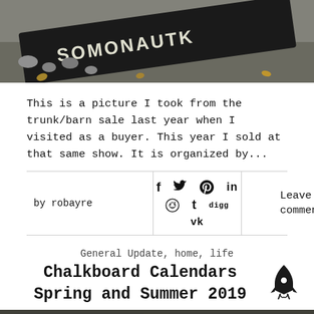[Figure (photo): Photo of a chalkboard sign lying on gravel with rocks and fallen leaves. Text on sign reads something including 'SOMONAUTK' or similar.]
This is a picture I took from the trunk/barn sale last year when I visited as a buyer. This year I sold at that same show. It is organized by...
by robayre
[Figure (infographic): Social sharing icons: Facebook (f), Twitter, Pinterest, LinkedIn, Reddit, Tumblr (t), digg, VK]
Leave a comment
General Update, home, life
Chalkboard Calendars Spring and Summer 2019
[Figure (photo): Bottom portion of a photo showing chalkboard calendars with text partially visible including 'MONTH 20' and 'Autumn 20']